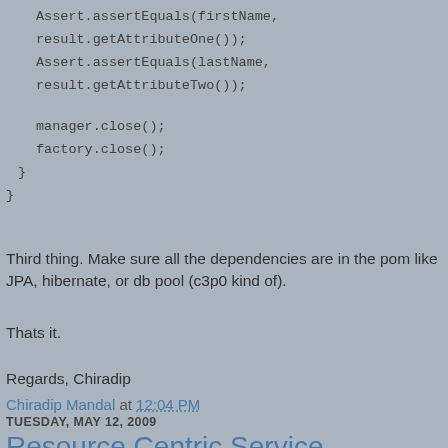Assert.assertEquals(firstName, result.getAttributeOne());
    Assert.assertEquals(lastName, result.getAttributeTwo());

    manager.close();
    factory.close();
  }
}
Third thing. Make sure all the dependencies are in the pom like JPA, hibernate, or db pool (c3p0 kind of).
Thats it.
Regards, Chiradip
Chiradip Mandal at 12:04 PM
TUESDAY, MAY 12, 2009
Resource Centric Service Architecture (RCSA)